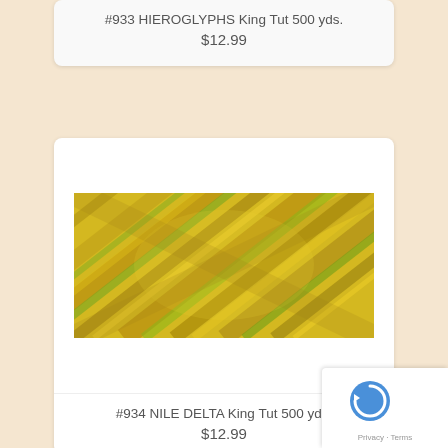#933 HIEROGLYPHS King Tut 500 yds.
$12.99
[Figure (photo): Spool of variegated thread in yellow, gold, and green tones - #934 NILE DELTA King Tut]
#934 NILE DELTA King Tut 500 yds.
$12.99